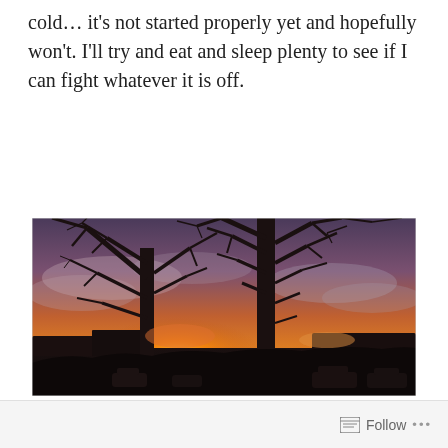cold… it's not started properly yet and hopefully won't. I'll try and eat and sleep plenty to see if I can fight whatever it is off.
[Figure (photo): Outdoor photo of a winter sunset with bare silhouetted trees against an orange and purple sky. Parked cars and buildings are visible in the dark foreground.]
Follow